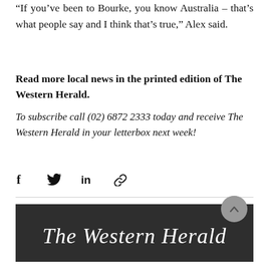“If you’ve been to Bourke, you know Australia – that’s what people say and I think that’s true,” Alex said.
Read more local news in the printed edition of The Western Herald.
To subscribe call (02) 6872 2333 today and receive The Western Herald in your letterbox next week!
[Figure (infographic): Social share icons: Facebook, Twitter, LinkedIn, Link]
[Figure (logo): The Western Herald newspaper masthead logo in white Gothic/blackletter font on dark background, with a gray back-to-top button]
[Figure (infographic): Contact bar with Phone (green icon), Email (pink/magenta icon), Facebook (blue icon) options]